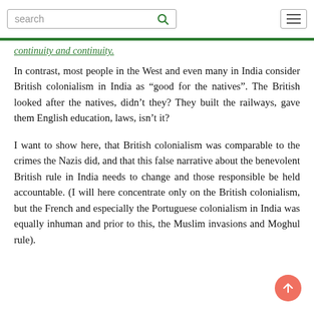search [search icon] [hamburger menu]
continuity and continuity.
In contrast, most people in the West and even many in India consider British colonialism in India as “good for the natives”. The British looked after the natives, didn’t they? They built the railways, gave them English education, laws, isn’t it?
I want to show here, that British colonialism was comparable to the crimes the Nazis did, and that this false narrative about the benevolent British rule in India needs to change and those responsible be held accountable. (I will here concentrate only on the British colonialism, but the French and especially the Portuguese colonialism in India was equally inhuman and prior to this, the Muslim invasions and Moghul rule).